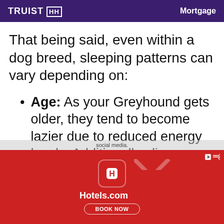[Figure (screenshot): Truist Mortgage advertisement banner with purple background, white TRUIST logo with HH box icon on left and 'Mortgage' text on right]
That being said, even within a dog breed, sleeping patterns can vary depending on:
Age: As your Greyhound gets older, they tend to become lazier due to reduced energy levels. Additionally, diseases such
[Figure (screenshot): Hotels.com advertisement banner with red background, Hotels.com app icon, Hotels.com logo with large X watermark, and BOOK NOW button]